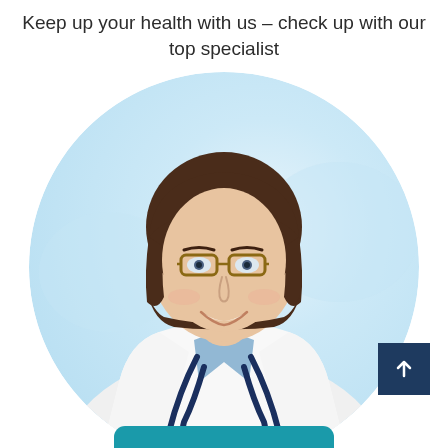Keep up your health with us - check up with our top specialist
[Figure (photo): A smiling female doctor with short brown hair and glasses, wearing a white lab coat with a navy blue stethoscope around her neck, set against a light blue blurred background, displayed in a circular crop]